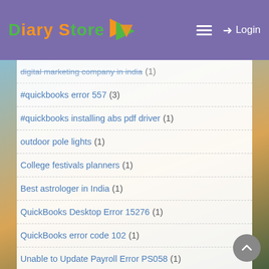Diary Store — Logo, hamburger menu, Login
digital marketing company in india (1)
#quickbooks error 557 (3)
#quickbooks installing abs pdf driver (1)
outdoor pole lights (1)
College festivals planners (1)
Best astrologer in India (1)
QuickBooks Desktop Error 15276 (1)
QuickBooks error code 102 (1)
Unable to Update Payroll Error PS058 (1)
#quickbooks error code ps077 (1)
Led Wall Pack Light Houston TX (7)
marble and granite companies in uae (3)
company file not updated (1)